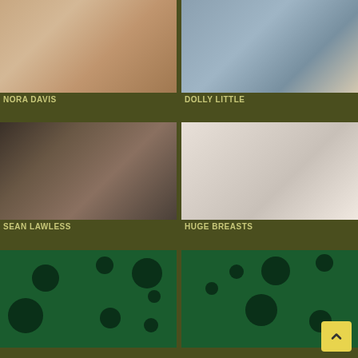[Figure (photo): Nora Davis photo thumbnail]
NORA DAVIS
[Figure (photo): Dolly Little photo thumbnail]
DOLLY LITTLE
[Figure (photo): Sean Lawless photo thumbnail]
SEAN LAWLESS
[Figure (photo): Huge Breasts photo thumbnail]
HUGE BREASTS
[Figure (illustration): Green placeholder with dark dots]
[Figure (illustration): Green placeholder with dark dots]